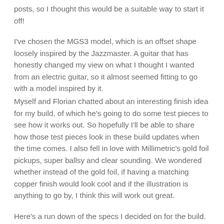posts, so I thought this would be a suitable way to start it off!
I've chosen the MGS3 model, which is an offset shape loosely inspired by the Jazzmaster. A guitar that has honestly changed my view on what I thought I wanted from an electric guitar, so it almost seemed fitting to go with a model inspired by it.
Myself and Florian chatted about an interesting finish idea for my build, of which he's going to do some test pieces to see how it works out. So hopefully I'll be able to share how those test pieces look in these build updates when the time comes. I also fell in love with Millimetric's gold foil pickups, super ballsy and clear sounding. We wondered whether instead of the gold foil, if having a matching copper finish would look cool and if the illustration is anything to go by, I think this will work out great.
Here's a run down of the specs I decided on for the build. I must admit I was pretty stressed out worrying about what to go for, but I manned